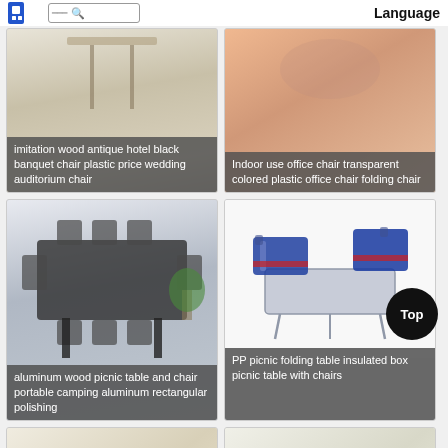[Figure (screenshot): E-commerce product listing page showing furniture items in a grid layout with a top navigation bar containing a logo, search icon, and Language label.]
imitation wood antique hotel black banquet chair plastic price wedding auditorium chair
Indoor use office chair transparent colored plastic office chair folding chair
aluminum wood picnic table and chair portable camping aluminum rectangular polishing
PP picnic folding table insulated box picnic table with chairs
[Figure (photo): Bottom left product image - appears to be a table]
[Figure (photo): Bottom right product image - appears to be a table with chairs]